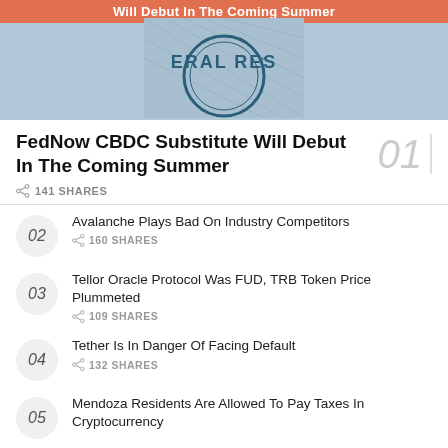[Figure (photo): Hero banner showing Federal Reserve seal with orange title banner overlay reading 'Will Debut In The Coming Summer']
FedNow CBDC Substitute Will Debut In The Coming Summer
141 SHARES
02 Avalanche Plays Bad On Industry Competitors — 160 SHARES
03 Tellor Oracle Protocol Was FUD, TRB Token Price Plummeted — 109 SHARES
04 Tether Is In Danger Of Facing Default — 132 SHARES
05 Mendoza Residents Are Allowed To Pay Taxes In Cryptocurrency